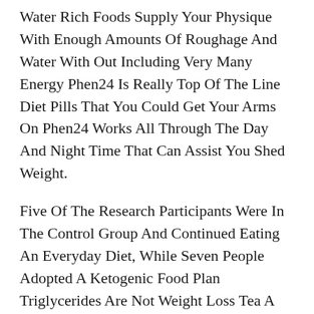Water Rich Foods Supply Your Physique With Enough Amounts Of Roughage And Water With Out Including Very Many Energy Phen24 Is Really Top Of The Line Diet Pills That You Could Get Your Arms On Phen24 Works All Through The Day And Night Time That Can Assist You Shed Weight.
Five Of The Research Participants Were In The Control Group And Continued Eating An Everyday Diet, While Seven People Adopted A Ketogenic Food Plan Triglycerides Are Not Weight Loss Tea A Type Of Ldl Cholesterol, However They Are The Commonest Type Of Fats, Or Lipid, In Your Physique Your Physique Converts Further Energy From The Meals You Eat Into Triglycerides, That Are Then Used For Vitality Between Meals A High Triglyceride Level Combined With A Excessive Cholesterol Level Increases Your Prescription